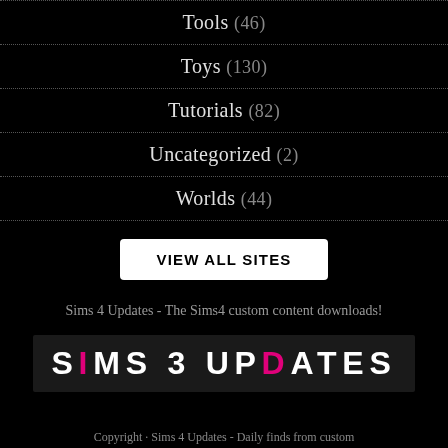Tools (46)
Toys (130)
Tutorials (82)
Uncategorized (2)
Worlds (44)
VIEW ALL SITES
Sims 4 Updates - The Sims4 custom content downloads!
[Figure (logo): SIMS 3 UPDATES logo with pink accent letters I and D on dark background]
Copyright · Sims 4 Updates - Daily finds from custom